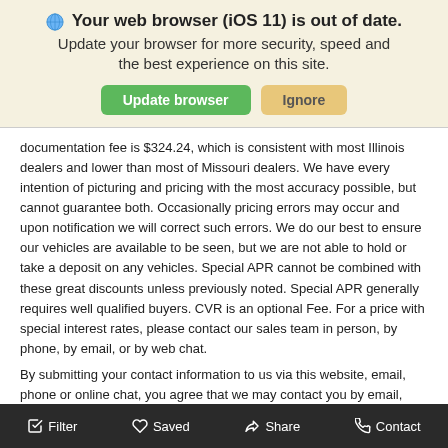[Figure (screenshot): Browser update warning banner with globe icon, bold title 'Your web browser (iOS 11) is out of date.', subtitle text, and two buttons: 'Update browser' (green) and 'Ignore' (tan/yellow)]
documentation fee is $324.24, which is consistent with most Illinois dealers and lower than most of Missouri dealers. We have every intention of picturing and pricing with the most accuracy possible, but cannot guarantee both. Occasionally pricing errors may occur and upon notification we will correct such errors. We do our best to ensure our vehicles are available to be seen, but we are not able to hold or take a deposit on any vehicles. Special APR cannot be combined with these great discounts unless previously noted. Special APR generally requires well qualified buyers. CVR is an optional Fee. For a price with special interest rates, please contact our sales team in person, by phone, by email, or by web chat.
By submitting your contact information to us via this website, email, phone or online chat, you agree that we may contact you by email, phone (voice and text message), or traditional mail. All information collected will remain confidential.
*Pricing provided may vary significantly between website and dealer as a result of
Filter   Saved   Share   Contact